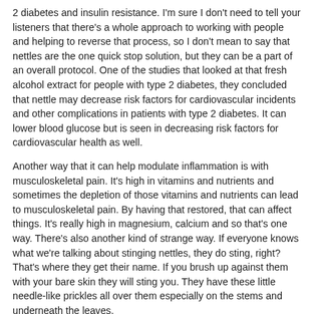2 diabetes and insulin resistance. I'm sure I don't need to tell your listeners that there's a whole approach to working with people and helping to reverse that process, so I don't mean to say that nettles are the one quick stop solution, but they can be a part of an overall protocol. One of the studies that looked at that fresh alcohol extract for people with type 2 diabetes, they concluded that nettle may decrease risk factors for cardiovascular incidents and other complications in patients with type 2 diabetes. It can lower blood glucose but is seen in decreasing risk factors for cardiovascular health as well.
Another way that it can help modulate inflammation is with musculoskeletal pain. It's high in vitamins and nutrients and sometimes the depletion of those vitamins and nutrients can lead to musculoskeletal pain. By having that restored, that can affect things. It's really high in magnesium, calcium and so that's one way. There's also another kind of strange way. If everyone knows what we're talking about stinging nettles, they do sting, right? That's where they get their name. If you brush up against them with your bare skin they will sting you. They have these little needle-like prickles all over them especially on the stems and underneath the leaves.
What those do is they're these hollow point needles and when you brush up against them they actually inject your skin with their special little juice there, and you will have a mild reaction. It can be a little rash, and it could be a little painful, a little itchy. It's very mild though. It's not that big of a deal unless you really go for it. But we know that the sting of fresh nettle can actually bring blood flow to an area, can bring healing hormones, and will decrease pain.